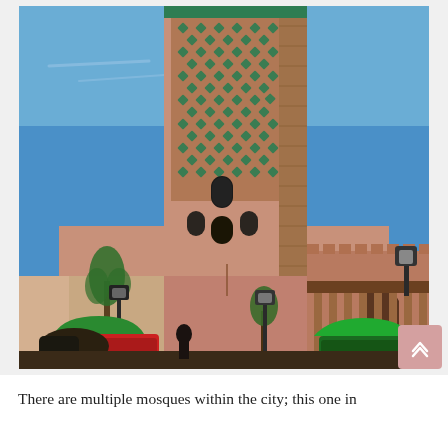[Figure (photo): A tall Moroccan mosque minaret with ornate green geometric tile work on a terracotta brick tower rising against a clear blue sky. The lower portion shows a pink-beige mosque wall with an arched doorway. In the foreground are horse-drawn carriages (calèches) with colorful green and red upholstery, street lamps, and a small tree.]
There are multiple mosques within the city; this one in